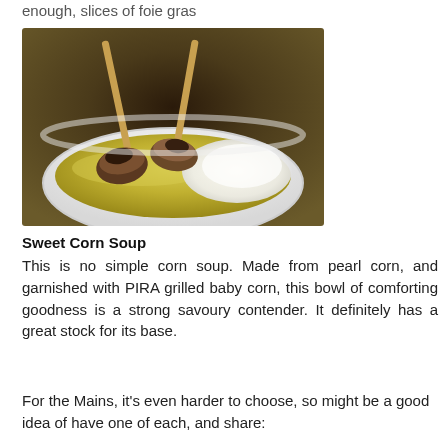enough, slices of foie gras
[Figure (photo): A white bowl of sweet corn soup with two grilled baby corn skewers sticking out, topped with white foam on the right side]
Sweet Corn Soup
This is no simple corn soup. Made from pearl corn, and garnished with PIRA grilled baby corn, this bowl of comforting goodness is a strong savoury contender. It definitely has a great stock for its base.
For the Mains, it's even harder to choose, so might be a good idea of have one of each, and share: